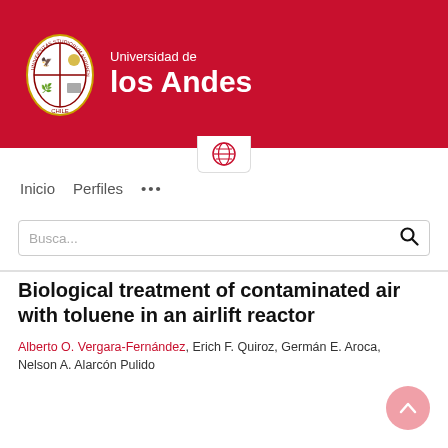[Figure (logo): Universidad de los Andes logo with crest and white text on red background]
Inicio   Perfiles   ...
Busca...
Biological treatment of contaminated air with toluene in an airlift reactor
Alberto O. Vergara-Fernández, Erich F. Quiroz, Germán E. Aroca, Nelson A. Alarcón Pulido